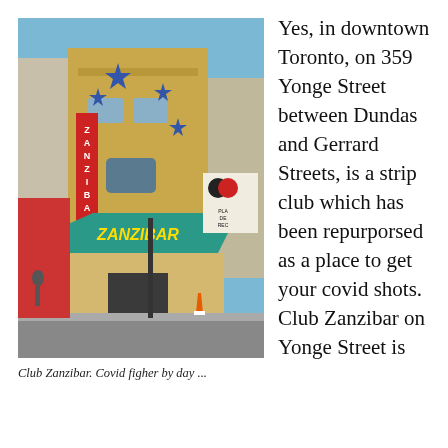[Figure (photo): Exterior photograph of Club Zanzibar on Yonge Street in Toronto, showing the colorful building facade with neon signs, star decorations, and street-level storefronts.]
Club Zanzibar. Covid figher by day ...
Yes, in downtown Toronto, on 359 Yonge Street between Dundas and Gerrard Streets, is a strip club which has been repurporsed as a place to get your covid shots. Club Zanzibar on Yonge Street is